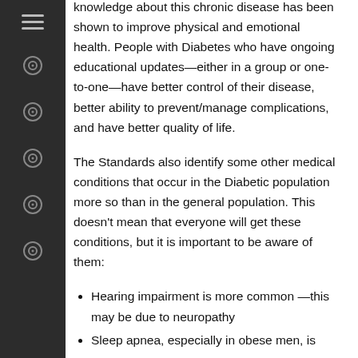knowledge about this chronic disease has been shown to improve physical and emotional health. People with Diabetes who have ongoing educational updates—either in a group or one-to-one—have better control of their disease, better ability to prevent/manage complications, and have better quality of life.
The Standards also identify some other medical conditions that occur in the Diabetic population more so than in the general population. This doesn't mean that everyone will get these conditions, but it is important to be aware of them:
Hearing impairment is more common —this may be due to neuropathy
Sleep apnea, especially in obese men, is